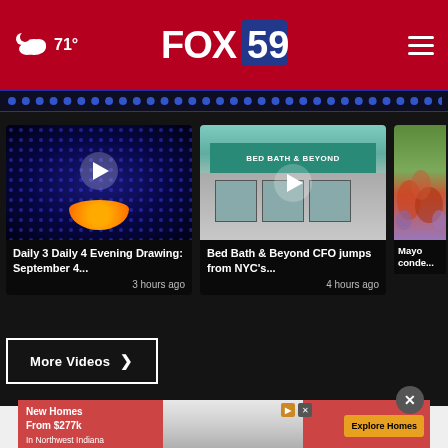71° FOX 59
[Figure (screenshot): Video thumbnail: Daily 3 Daily 4 Evening Drawing September 4 - blue dot grid background with logo]
Daily 3 Daily 4 Evening Drawing: September 4...
3 hours ago
[Figure (screenshot): Video thumbnail: Bed Bath & Beyond storefront]
Bed Bath & Beyond CFO jumps from NYC's...
4 hours ago
[Figure (screenshot): Partial video thumbnail: Mayor conde... - crowd scene]
Mayor
conde...
More Videos ›
[Figure (screenshot): Advertisement banner: New Homes From $277k In Northwest Indiana - Explore Homes]